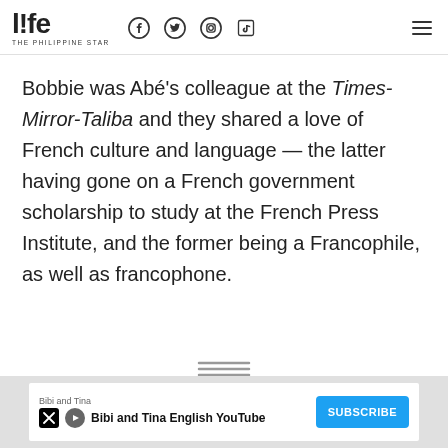life THE PHILIPPINE STAR
Bobbie was Abé's colleague at the Times-Mirror-Taliba and they shared a love of French culture and language — the latter having gone on a French government scholarship to study at the French Press Institute, and the former being a Francophile, as well as francophone.
[Figure (other): Three horizontal lines separator icon]
[Figure (other): Advertisement banner: Bibi and Tina English YouTube with Subscribe button]